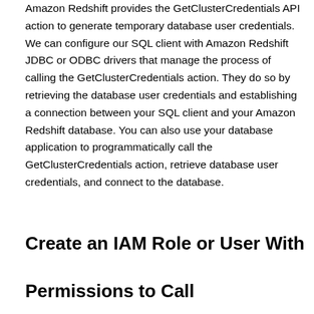Amazon Redshift provides the GetClusterCredentials API action to generate temporary database user credentials. We can configure our SQL client with Amazon Redshift JDBC or ODBC drivers that manage the process of calling the GetClusterCredentials action. They do so by retrieving the database user credentials and establishing a connection between your SQL client and your Amazon Redshift database. You can also use your database application to programmatically call the GetClusterCredentials action, retrieve database user credentials, and connect to the database.
Create an IAM Role or User With
Permissions to Call